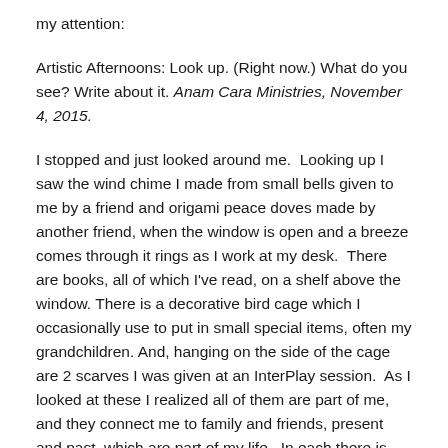my attention:
Artistic Afternoons: Look up. (Right now.) What do you see? Write about it. Anam Cara Ministries, November 4, 2015.
I stopped and just looked around me.  Looking up I saw the wind chime I made from small bells given to me by a friend and origami peace doves made by another friend, when the window is open and a breeze comes through it rings as I work at my desk.  There are books, all of which I've read, on a shelf above the window. There is a decorative bird cage which I occasionally use to put in small special items, often my grandchildren. And, hanging on the side of the cage are 2 scarves I was given at an InterPlay session.  As I looked at these I realized all of them are part of me, and they connect me to family and friends, present and past, which are part of my life.  In each there is the memory of love shared.  I am grateful to Anam Cara for giving me a priceless gift of memories.